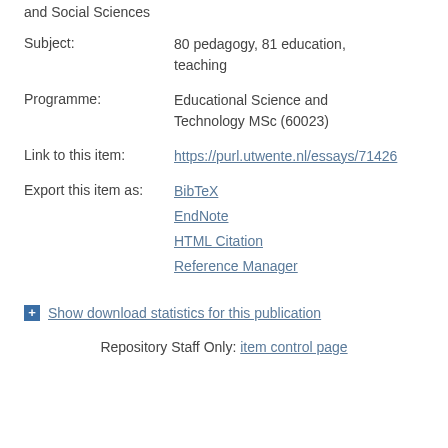and Social Sciences
Subject: 80 pedagogy, 81 education, teaching
Programme: Educational Science and Technology MSc (60023)
Link to this item: https://purl.utwente.nl/essays/71426
Export this item as: BibTeX, EndNote, HTML Citation, Reference Manager
+ Show download statistics for this publication
Repository Staff Only: item control page